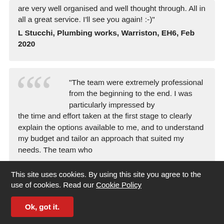are very well organised and well thought through. All in all a great service. I'll see you again! :-)"
L Stucchi, Plumbing works, Warriston, EH6, Feb 2020
"The team were extremely professional from the beginning to the end. I was particularly impressed by the time and effort taken at the first stage to clearly explain the options available to me, and to understand my budget and tailor an approach that suited my needs. The team who
This site uses cookies. By using this site you agree to the use of cookies. Read our Cookie Policy
Ok, got it.